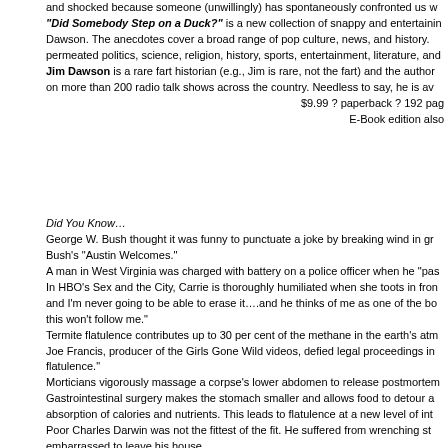and shocked because someone (unwillingly) has spontaneously confronted us with a fart. "Did Somebody Step on a Duck?" is a new collection of snappy and entertaining anecdotes by Jim Dawson. The anecdotes cover a broad range of pop culture, news, and history. Farts have permeated politics, science, religion, history, sports, entertainment, literature, and more. Jim Dawson is a rare fart historian (e.g., Jim is rare, not the fart) and the author who has appeared on more than 200 radio talk shows across the country. Needless to say, he is available for interviews. $9.99 ? paperback ? 192 pages E-Book edition also
Did You Know...
George W. Bush thought it was funny to punctuate a joke by breaking wind in group settings, a Bush's "Austin Welcomes."
A man in West Virginia was charged with battery on a police officer when he "pas...
In HBO's Sex and the City, Carrie is thoroughly humiliated when she toots in front... and I'm never going to be able to erase it....and he thinks of me as one of the bo... this won't follow me."
Termite flatulence contributes up to 30 per cent of the methane in the earth's atm...
Joe Francis, producer of the Girls Gone Wild videos, defied legal proceedings in ... flatulence."
Morticians vigorously massage a corpse's lower abdomen to release postmortem...
Gastrointestinal surgery makes the stomach smaller and allows food to detour ar... absorption of calories and nutrients. This leads to flatulence at a new level of inte...
Poor Charles Darwin was not the fittest of the fit. He suffered from wrenching sto... embarrassed to leave his house.
[Figure (photo): Ten Speed Press logo/image thumbnail]
Tags: Did Somebody Step on a Duck, Fart, fart historian, flatulence, Jim Dawson
Posted in Press Releases | No Comments »